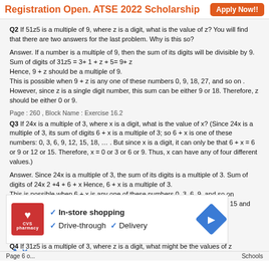Registration Open. ATSE 2022 Scholarship   Apply Now!!
Q2 If 51z5 is a multiple of 9, where z is a digit, what is the value of z? You will find that there are two answers for the last problem. Why is this so?
Answer. If a number is a multiple of 9, then the sum of its digits will be divisible by 9.
Sum of digits of 31z5 = 3+ 1 + z + 5= 9+ z
Hence, 9 + z should be a multiple of 9.
This is possible when 9 + z is any one of these numbers 0, 9, 18, 27, and so on .
However, since z is a single digit number, this sum can be either 9 or 18. Therefore, z should be either 0 or 9.
Page : 260 , Block Name : Exercise 16.2
Q3 If 24x is a multiple of 3, where x is a digit, what is the value of x? (Since 24x is a multiple of 3, its sum of digits 6 + x is a multiple of 3; so 6 + x is one of these numbers: 0, 3, 6, 9, 12, 15, 18, … . But since x is a digit, it can only be that 6 + x = 6 or 9 or 12 or 15. Therefore, x = 0 or 3 or 6 or 9. Thus, x can have any of four different values.)
Answer. Since 24x is a multiple of 3, the sum of its digits is a multiple of 3. Sum of digits of 24x 2 +4 + 6 + x Hence, 6 + x is a multiple of 3.
This is possible when 6 + x is any one of these numbers 0, 3, 6, 9, and so on
Since x is a single digit number, the sum of the digits can be 6 or 9 or 12 or 15 and thus, the value of x comes to 0 or 3 or 6 or 9 respectively.
Thus, x can have its value as any of the four different values 0, 3, 6, or 9.
Page : 260 , Block Name : Exercise 16.2
Q4 If 31z5 is a multiple of 3, where z is a digit, what might be the values of z
Answ
That
This
Since
value
Thus
[Figure (infographic): CVS Pharmacy advertisement with checkmarks for In-store shopping, Drive-through, and Delivery, with a blue navigation arrow icon]
Page 6 o...   Schools